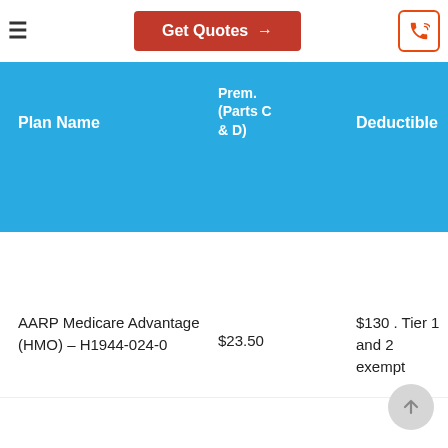Get Quotes →
| Plan Name | Monthly Prem. (Parts C & D) | Deductible |
| --- | --- | --- |
| AARP Medicare Advantage (HMO) – H1944-024-0 | $23.50 | $130 . Tier 1 and 2 exempt |